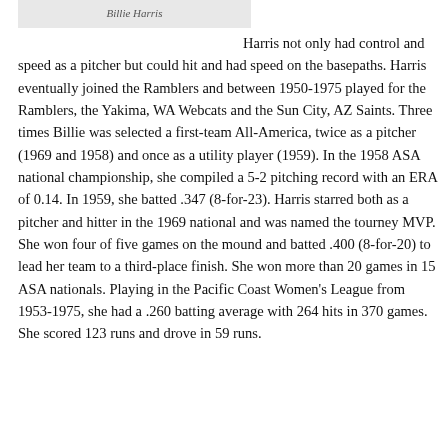[Figure (photo): Photo of Billie Harris]
Harris not only had control and speed as a pitcher but could hit and had speed on the basepaths. Harris eventually joined the Ramblers and between 1950-1975 played for the Ramblers, the Yakima, WA Webcats and the Sun City, AZ Saints. Three times Billie was selected a first-team All-America, twice as a pitcher (1969 and 1958) and once as a utility player (1959). In the 1958 ASA national championship, she compiled a 5-2 pitching record with an ERA of 0.14. In 1959, she batted .347 (8-for-23). Harris starred both as a pitcher and hitter in the 1969 national and was named the tourney MVP. She won four of five games on the mound and batted .400 (8-for-20) to lead her team to a third-place finish. She won more than 20 games in 15 ASA nationals. Playing in the Pacific Coast Women's League from 1953-1975, she had a .260 batting average with 264 hits in 370 games. She scored 123 runs and drove in 59 runs.